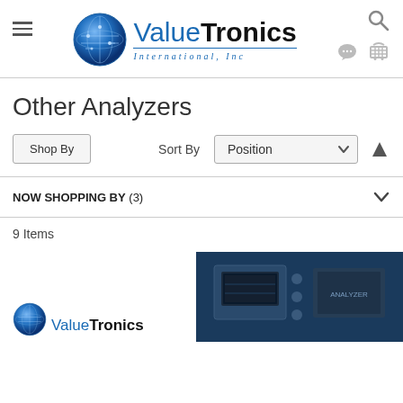[Figure (logo): ValueTronics International, Inc logo with blue globe icon and company name]
Other Analyzers
Shop By
Sort By  Position
NOW SHOPPING BY (3)
9 Items
[Figure (logo): ValueTronics logo bottom left small]
[Figure (photo): Product image on dark blue background, partially visible]